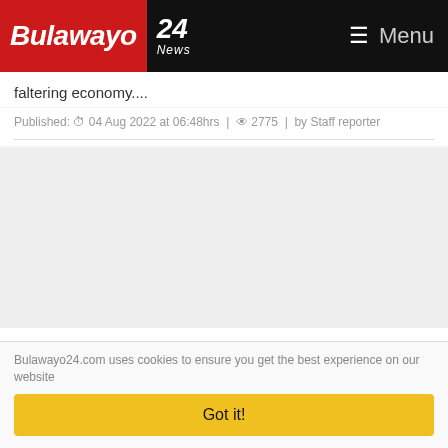Bulawayo 24 News — Menu
faltering economy....
Published: 04 Aug 2022 at 06:48hrs | 2775 | by Staff reporter
[Figure (other): Advertisement placeholder area (grey background)]
'Even birds and trees indule in sex' - says Mutsvangwa as he wades into Mnangagwa-Mutami rape saga
Bulawayo24.com uses cookies to ensure you get the best experience on our website
Got it!